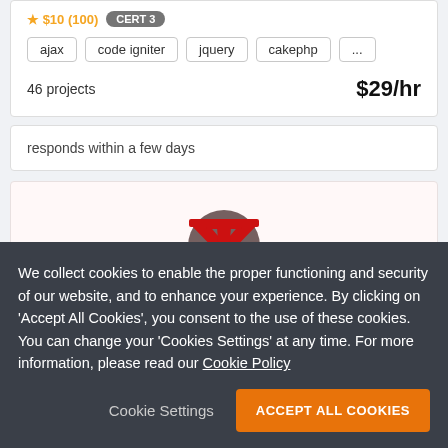ajax, code igniter, jquery, cakephp, ...
46 projects   $29/hr
responds within a few days
[Figure (logo): Techpark logo - red angular arrow/T shape on a dark circular background, with text 'Techpark T' below]
Full Stack developer | Wordpress | Codeigniter | Laravel | PHP Expert
India
We collect cookies to enable the proper functioning and security of our website, and to enhance your experience. By clicking on 'Accept All Cookies', you consent to the use of these cookies. You can change your 'Cookies Settings' at any time. For more information, please read our Cookie Policy
Cookie Settings   ACCEPT ALL COOKIES